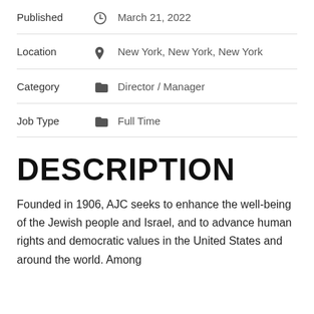Published  March 21, 2022
Location  New York, New York, New York
Category  Director / Manager
Job Type  Full Time
DESCRIPTION
Founded in 1906, AJC seeks to enhance the well-being of the Jewish people and Israel, and to advance human rights and democratic values in the United States and around the world. Among